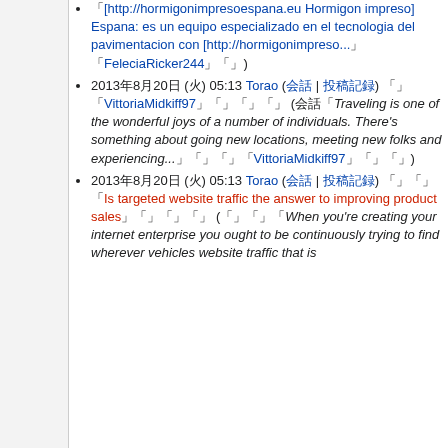「[http://hormigonimpresoespana.eu Hormigon impreso] Espana: es un equipo especializado en el tecnologia del pavimentacion con [http://hormigonimpreso...」「FeleciaRicker244」「」)
2013年8月20日 (火) 05:13 Torao (会話 | 投稿記録) 「」「VittoriaMidkiff97」「」「」「」 (会話「Traveling is one of the wonderful joys of a number of individuals. There's something about going new locations, meeting new folks and experiencing...」「」「」「VittoriaMidkiff97」「」「」「」)
2013年8月20日 (火) 05:13 Torao (会話 | 投稿記録) 「」「」「Is targeted website traffic the answer to improving product sales」「」「」「」「」 (「」「」「When you're creating your internet enterprise you ought to be continuously trying to find wherever vehicles website traffic that is